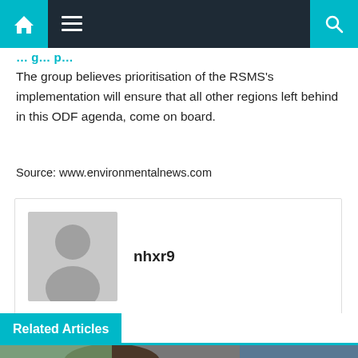Navigation bar with home, menu, and search icons
The group believes prioritisation of the RSMS's implementation will ensure that all other regions left behind in this ODF agenda, come on board.
Source: www.environmentalnews.com
[Figure (other): Author avatar placeholder with username nhxr9]
Related Articles
[Figure (photo): Bottom image strip showing a smiling person]